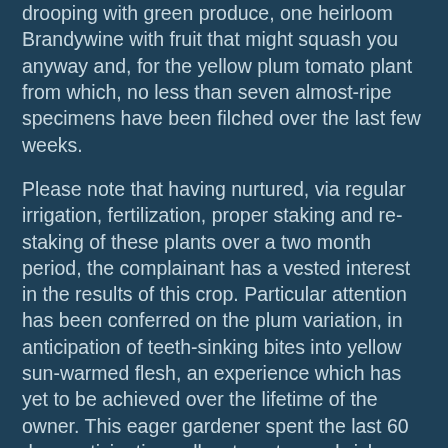drooping with green produce, one heirloom Brandywine with fruit that might squash you anyway and, for the yellow plum tomato plant from which, no less than seven almost-ripe specimens have been filched over the last few weeks.
Please note that having nurtured, via regular irrigation, fertilization, proper staking and re-staking of these plants over a two month period, the complainant has a vested interest in the results of this crop. Particular attention has been conferred on the plum variation, in anticipation of teeth-sinking bites into yellow sun-warmed flesh, an experience which has yet to be achieved over the lifetime of the owner. This eager gardener spent the last 60 days anticipating yellow tomato sandwiches (with fresh basil mayo), yellow tomato panzanella and the possibility of a sublime dinner of garlic, roasted yellow tomato, onion and olive oil, tossed with whole wheat pasta.
However, on no less than seven occasions the plaintiff left a ripening sample on the vine for a necessary 24 hours, only to return the next day to discover an act of heinous thievery had been conducted between fruit reviews. As you no doubt